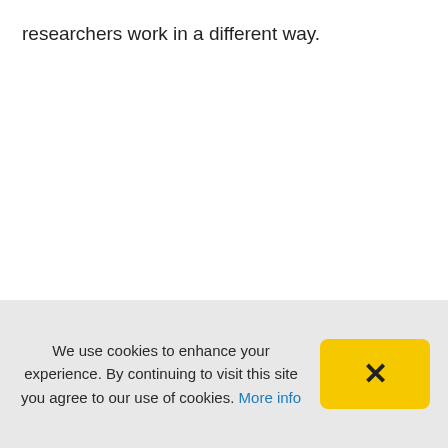researchers work in a different way.
We use cookies to enhance your experience. By continuing to visit this site you agree to our use of cookies. More info